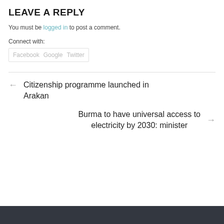LEAVE A REPLY
You must be logged in to post a comment.
Connect with:
Facebook Google Twitter
← Citizenship programme launched in Arakan
Burma to have universal access to electricity by 2030: minister →